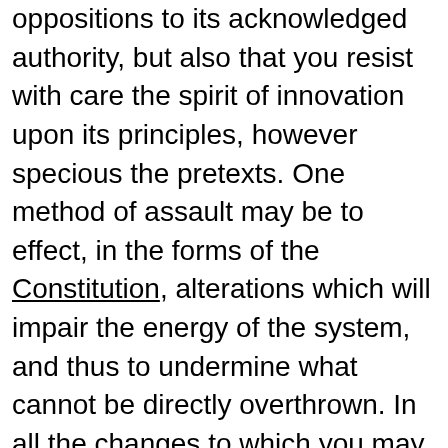oppositions to its acknowledged authority, but also that you resist with care the spirit of innovation upon its principles, however specious the pretexts. One method of assault may be to effect, in the forms of the Constitution, alterations which will impair the energy of the system, and thus to undermine what cannot be directly overthrown. In all the changes to which you may be invited, remember that time and habit are at least as necessary to fix the true character of governments as of other human institutions; that experience is the surest standard by which to test the real tendency of the existing constitution of a country; that facility in changes, upon the credit of mere hypothesis and opinion, exposes to perpetual change, from the endless variety of hypothesis and opinion; and remember, especially, that for the efficient